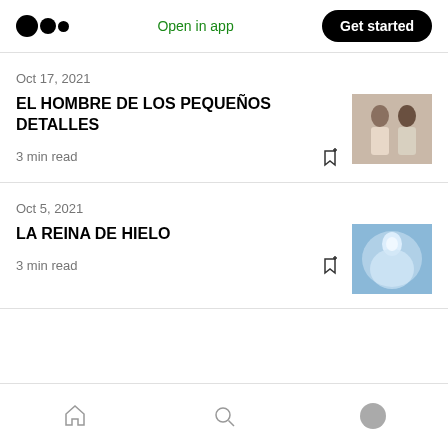Medium logo | Open in app | Get started
Oct 17, 2021
EL HOMBRE DE LOS PEQUEÑOS DETALLES
3 min read
[Figure (photo): Black and white photo of two men]
Oct 5, 2021
LA REINA DE HIELO
3 min read
[Figure (photo): Ethereal glowing figure in blue-white light]
Home | Search | Profile